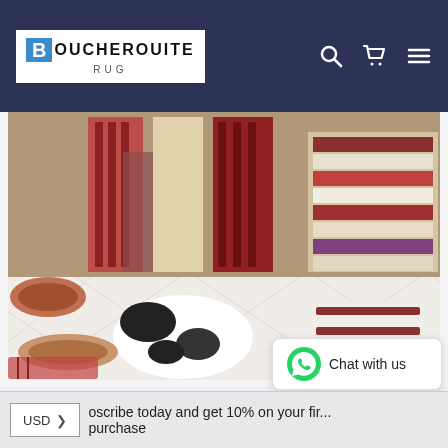BOUCHEROUITE RUG — navigation with search, cart, and menu icons
[Figure (photo): Moroccan rug shop interior with colorful stacked rugs, cushions, and black-and-white poufs on a patterned floor]
Wholesale Moroccan rugs
Moroccan rugs , wool rugs , handmade rugs , beni ourain rugs , azilal rug , boucherouite rug
[Figure (other): WhatsApp Chat with us widget button]
USD > oscribe today and get 10% on your first purchase